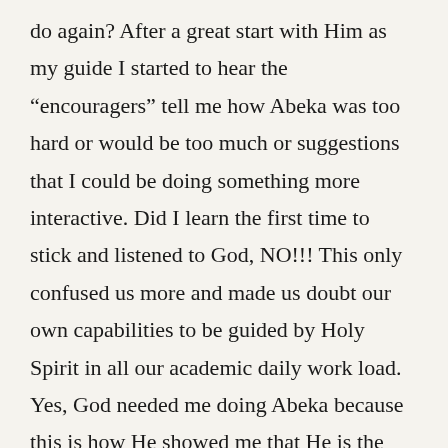do again? After a great start with Him as my guide I started to hear the “encouragers” tell me how Abeka was too hard or would be too much or suggestions that I could be doing something more interactive. Did I learn the first time to stick and listened to God, NO!!! This only confused us more and made us doubt our own capabilities to be guided by Holy Spirit in all our academic daily work load. Yes, God needed me doing Abeka because this is how He showed me that He is the one to give us the wisdom, the order, the ability, the excellence, the encouragement, the guidance, the breakthroughs, and the structure we all need to learn as a family.
Today I see how much better it is to listen to our